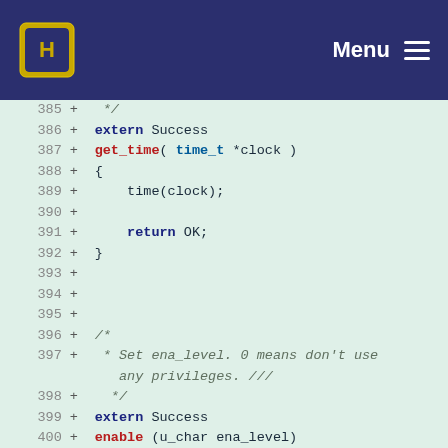Menu
[Figure (screenshot): Code diff viewer showing lines 385-403 of a C source file with added lines (marked with +) on a light green background. Lines include extern Success, get_time function, return OK, and enable function with CHK_LOGIN(FAILURE) and active_connection->ena_level.]